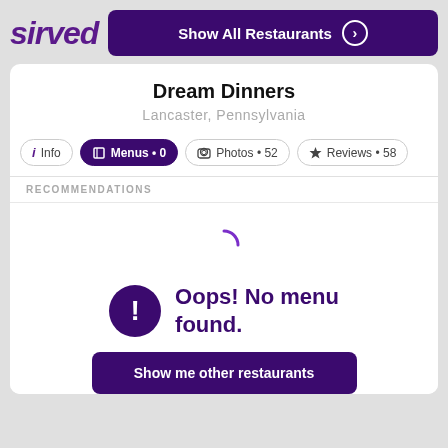[Figure (logo): Sirved logo in purple italic bold text]
Show All Restaurants
Dream Dinners
Lancaster, Pennsylvania
Info
Menus • 0
Photos • 52
Reviews • 58
RECOMMENDATIONS
Oops! No menu found.
Show me other restaurants